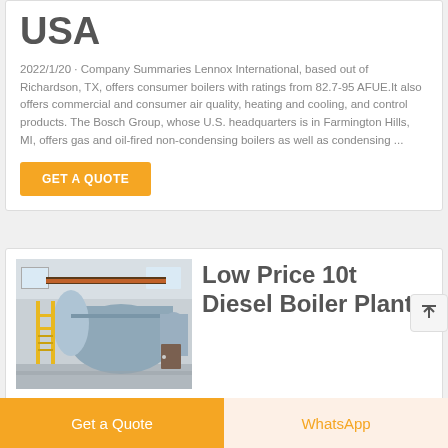USA
2022/1/20 · Company Summaries Lennox International, based out of Richardson, TX, offers consumer boilers with ratings from 82.7-95 AFUE.It also offers commercial and consumer air quality, heating and cooling, and control products. The Bosch Group, whose U.S. headquarters is in Farmington Hills, MI, offers gas and oil-fired non-condensing boilers as well as condensing ...
GET A QUOTE
[Figure (photo): Industrial boiler equipment inside a large industrial facility with yellow scaffolding and large cylindrical tanks]
Low Price 10t Diesel Boiler Plant
Get a Quote
WhatsApp